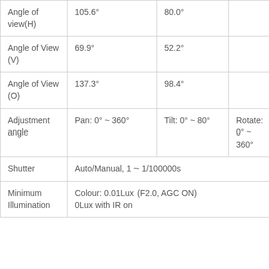| Parameter | Value 1 | Value 2 | Value 3 |
| --- | --- | --- | --- |
| Angle of view(H) | 105.6° | 80.0° |  |
| Angle of View (V) | 69.9° | 52.2° |  |
| Angle of View (O) | 137.3° | 98.4° |  |
| Adjustment angle | Pan: 0° ~ 360° | Tilt: 0° ~ 80° | Rotate: 0° ~ 360° |
| Shutter | Auto/Manual, 1 ~ 1/100000s |  |  |
| Minimum Illumination | Colour: 0.01Lux (F2.0, AGC ON)
0Lux with IR on |  |  |